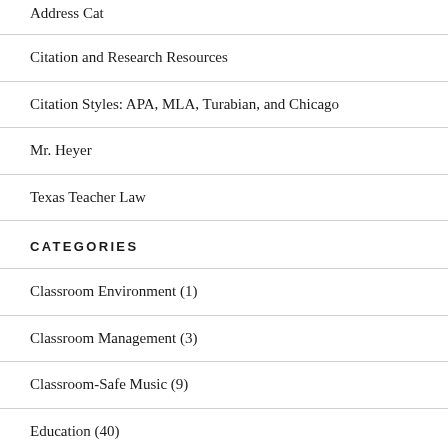Address Cat
Citation and Research Resources
Citation Styles: APA, MLA, Turabian, and Chicago
Mr. Heyer
Texas Teacher Law
CATEGORIES
Classroom Environment (1)
Classroom Management (3)
Classroom-Safe Music (9)
Education (40)